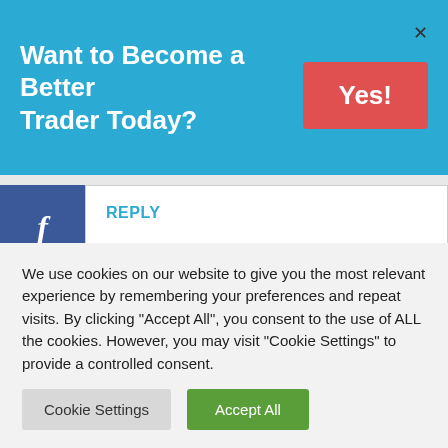Want to Become a Better Trader Today?
REPLY
Awinikistevie says:
May 10, 2020 at 03:18
We use cookies on our website to give you the most relevant experience by remembering your preferences and repeat visits. By clicking "Accept All", you consent to the use of ALL the cookies. However, you may visit "Cookie Settings" to provide a controlled consent.